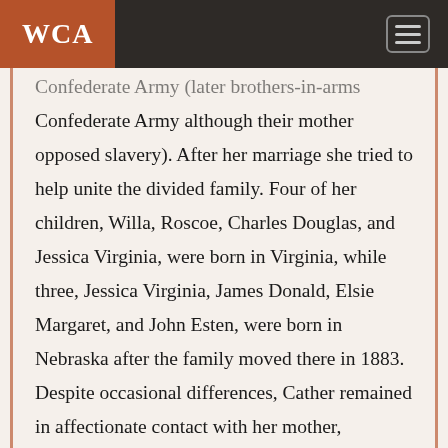WCA
Confederate Army although their mother opposed slavery). After her marriage she tried to help unite the divided family. Four of her children, Willa, Roscoe, Charles Douglas, and Jessica Virginia, were born in Virginia, while three, Jessica Virginia, James Donald, Elsie Margaret, and John Esten, were born in Nebraska after the family moved there in 1883. Despite occasional differences, Cather remained in affectionate contact with her mother,